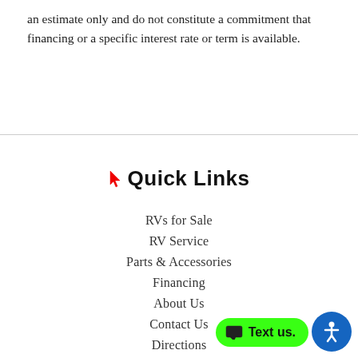an estimate only and do not constitute a commitment that financing or a specific interest rate or term is available.
Quick Links
RVs for Sale
RV Service
Parts & Accessories
Financing
About Us
Contact Us
Directions